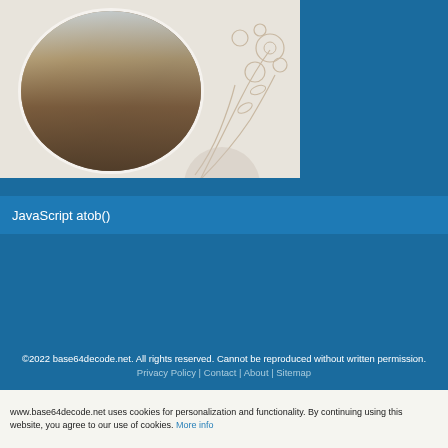[Figure (photo): Circular cropped photo of a modern kitchen and dining area with wooden table and chairs, pendant lights, and white cabinetry. Decorative floral line illustrations overlay on a beige background around the circular photo.]
JavaScript atob()
©2022 base64decode.net. All rights reserved. Cannot be reproduced without written permission.
Privacy Policy | Contact | About | Sitemap
www.base64decode.net uses cookies for personalization and functionality. By continuing using this website, you agree to our use of cookies. More info